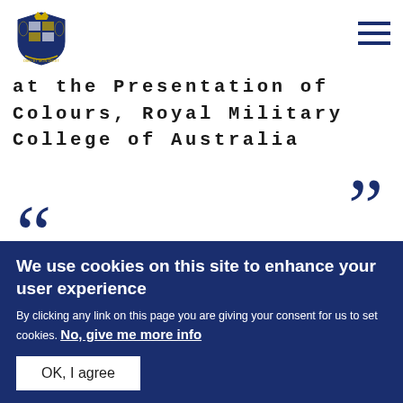[Figure (logo): Royal coat of arms logo in dark blue]
at the Presentation of Colours, Royal Military College of Australia
We use cookies on this site to enhance your user experience
By clicking any link on this page you are giving your consent for us to set cookies. No, give me more info
OK, I agree